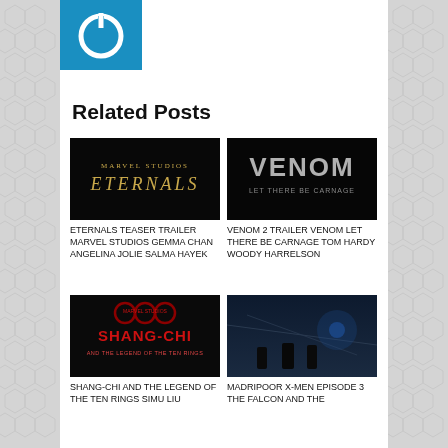[Figure (logo): Blue square logo with white power button icon]
Related Posts
[Figure (photo): Eternals movie teaser trailer title card on dark background]
ETERNALS TEASER TRAILER MARVEL STUDIOS GEMMA CHAN ANGELINA JOLIE SALMA HAYEK
[Figure (photo): Venom Let There Be Carnage movie trailer title card on dark background]
VENOM 2 TRAILER VENOM LET THERE BE CARNAGE TOM HARDY WOODY HARRELSON
[Figure (photo): Shang-Chi and the Legend of the Ten Rings movie title card]
SHANG-CHI AND THE LEGEND OF THE TEN RINGS SIMU LIU
[Figure (photo): Madripoor X-Men scene with silhouettes on bridge in blue-tinted night scene]
MADRIPOOR X-MEN EPISODE 3 THE FALCON AND THE